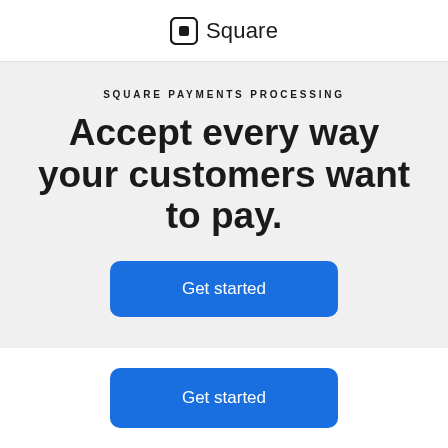Square
SQUARE PAYMENTS PROCESSING
Accept every way your customers want to pay.
Get started
Get started